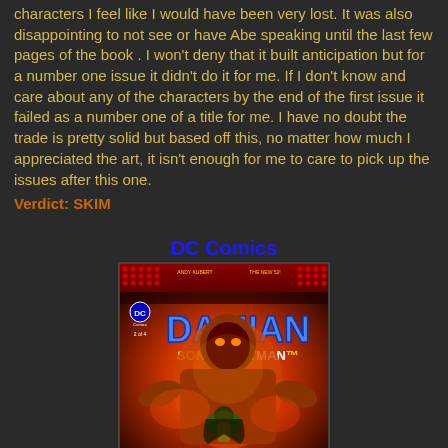characters I feel like I would have been very lost. It was also disappointing to not see or have Abe speaking until the last few pages of the book . I won't deny that it built anticipation but for a number one issue it didn't do it for me. If I don't know and care about any of the characters by the end of the first issue it failed as a number one of a title for me. I have no doubt the trade is pretty solid but based off this, no matter how much I appreciated the art, it isn't enough for me to care to pick up the issues after this one.
Verdict: SKIM
DC Comics
[Figure (photo): Comic book cover for 'Damian: Son of Batman' issue 2, featuring a large villainous figure with a smaller armored character (Damian) in the foreground, set against a fiery red/orange background. DC Comics logo visible in upper left.]